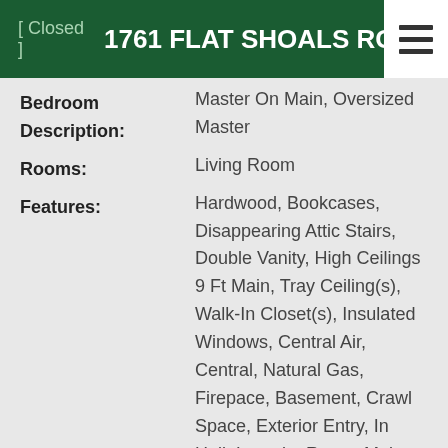[ Closed ]  1761 FLAT SHOALS ROAD S
| Field | Value |
| --- | --- |
| Bedroom Description: | Master On Main, Oversized Master |
| Rooms: | Living Room |
| Features: | Hardwood, Bookcases, Disappearing Attic Stairs, Double Vanity, High Ceilings 9 Ft Main, Tray Ceiling(s), Walk-In Closet(s), Insulated Windows, Central Air, Central, Natural Gas, Firepace, Basement, Crawl Space, Exterior Entry, In Hall, Laundry Room, Main Level |
| Kitchen: | Cabinets White, Pantry, Solid Surface Counters, View To Family |